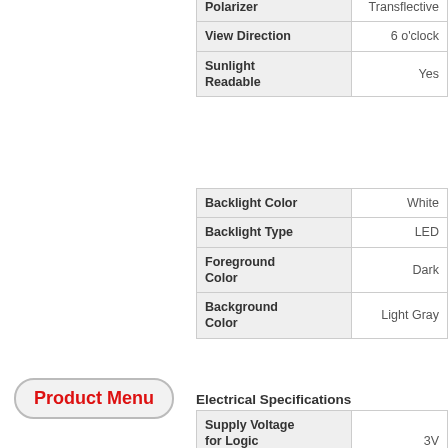| Property | Value |
| --- | --- |
| Polarizer | Transflective |
| View Direction | 6 o'clock |
| Sunlight Readable | Yes |
| Property | Value |
| --- | --- |
| Backlight Color | White |
| Backlight Type | LED |
| Foreground Color | Dark |
| Background Color | Light Gray |
Electrical Specifications
| Property | Value |
| --- | --- |
| Supply Voltage for Logic Minimum | 3V |
| Supply Voltage for Logic Maximum | 3.3V |
| Supply Current Minimum | 1mA |
| Supply Current | 2mA |
Product Menu